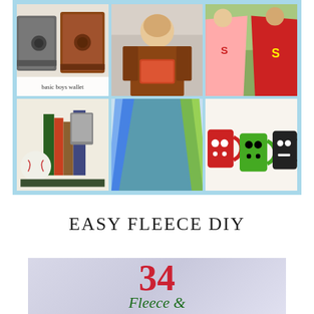[Figure (photo): 6-photo collage grid on light blue background showing: 1) basic boys wallet (fabric wallets with label), 2) boy holding a tablet/device, 3) two children wearing superhero capes, 4) bookends with a baseball and books, 5) colorful tulle/fabric skirt in blue and yellow-green, 6) three decorated mugs (monster faces in red, green, black)]
EASY FLEECE DIY
[Figure (photo): Partial image showing large red number '34' and beginning of green cursive text below on a light purple/lavender background]